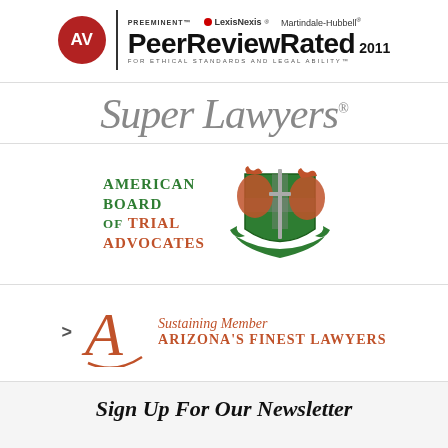[Figure (logo): AV Preeminent LexisNexis Martindale-Hubbell Peer Review Rated 2011 badge]
[Figure (logo): Super Lawyers logo in gray italic serif font]
[Figure (logo): American Board of Trial Advocates (ABOTA) logo with heraldic crest]
[Figure (logo): Arizona's Finest Lawyers - Sustaining Member logo with decorative A letterform]
Sign Up For Our Newsletter